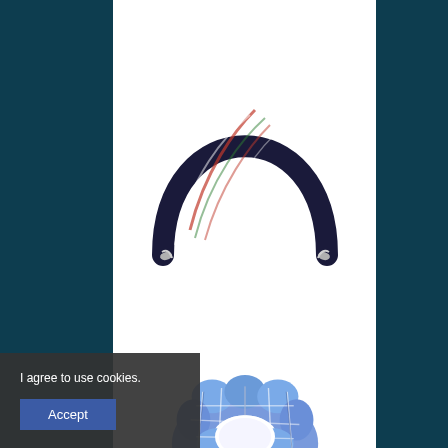[Figure (photo): Tartan/plaid patterned small Mckenzie headband on white background]
Small Mckenzie Headband
NZ$7.50
[Figure (photo): Blue plaid/checkered scrunchie hair accessory on white background]
I agree to use cookies.
Accept